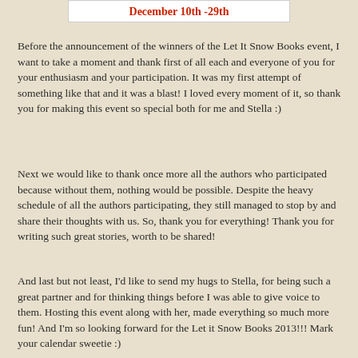December 10th -29th
Before the announcement of the winners of the Let It Snow Books event, I want to take a moment and thank first of all each and everyone of you for your enthusiasm and your participation. It was my first attempt of something like that and it was a blast! I loved every moment of it, so thank you for making this event so special both for me and Stella :)
Next we would like to thank once more all the authors who participated because without them, nothing would be possible. Despite the heavy schedule of all the authors participating, they still managed to stop by and share their thoughts with us. So, thank you for everything! Thank you for writing such great stories, worth to be shared!
And last but not least, I'd like to send my hugs to Stella, for being such a great partner and for thinking things before I was able to give voice to them. Hosting this event along with her, made everything so much more fun! And I'm so looking forward for the Let it Snow Books 2013!!! Mark your calendar sweetie :)